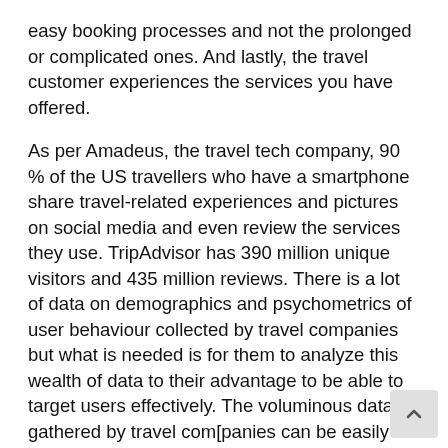easy booking processes and not the prolonged or complicated ones. And lastly, the travel customer experiences the services you have offered.
As per Amadeus, the travel tech company, 90 % of the US travellers who have a smartphone share travel-related experiences and pictures on social media and even review the services they use. TripAdvisor has 390 million unique visitors and 435 million reviews. There is a lot of data on demographics and psychometrics of user behaviour collected by travel companies but what is needed is for them to analyze this wealth of data to their advantage to be able to target users effectively. The voluminous data gathered by travel com[panies can be easily assessed with the help of AI based software. A great example of this has been set by the Dorchester Collection hotel headquartered in London. They use AI to analyze information such as customer reviews, feedback su and online polls using its AI platform. They were able to